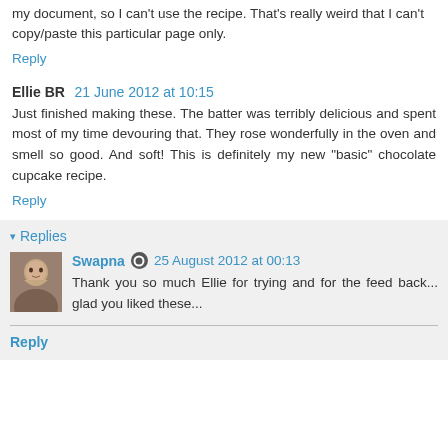my document, so I can't use the recipe. That's really weird that I can't copy/paste this particular page only.
Reply
Ellie BR  21 June 2012 at 10:15
Just finished making these. The batter was terribly delicious and spent most of my time devouring that. They rose wonderfully in the oven and smell so good. And soft! This is definitely my new "basic" chocolate cupcake recipe.
Reply
Replies
Swapna  25 August 2012 at 00:13
Thank you so much Ellie for trying and for the feed back... glad you liked these...
Reply